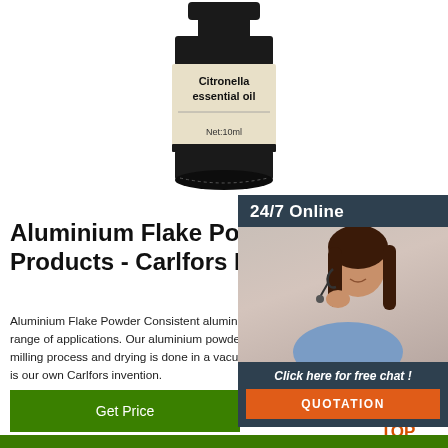[Figure (photo): Citronella essential oil bottle, dark glass with cream label showing 'Citronella essential oil' and 'Net: 10ml']
[Figure (photo): 24/7 Online support panel with woman wearing headset, dark blue background, 'Click here for free chat!' text, and orange QUOTATION button]
Aluminium Flake Powder - Products - Carlfors Bruk
Aluminium Flake Powder Consistent aluminium powders for a wide range of applications. Our aluminium powders are produced in a wet milling process and drying is done in a vacuum drying process which is our own Carlfors invention.
[Figure (other): Green 'Get Price' button]
[Figure (other): Orange TOP icon with dots forming triangle shape]
[Figure (photo): Green foliage strip at bottom of page]